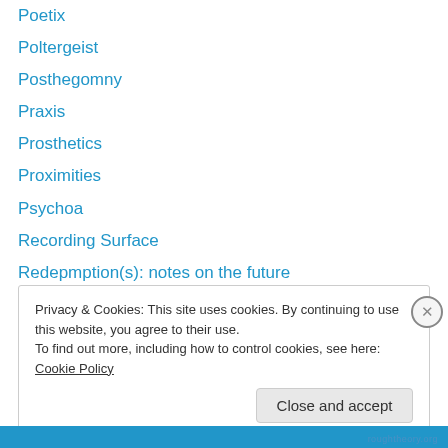Poetix
Poltergeist
Posthegomny
Praxis
Prosthetics
Proximities
Psychoa
Recording Surface
Redepmption(s): notes on the future
Rough Theory
Side Effects
Slow Learner
Smokewriting
Privacy & Cookies: This site uses cookies. By continuing to use this website, you agree to their use. To find out more, including how to control cookies, see here: Cookie Policy
Close and accept